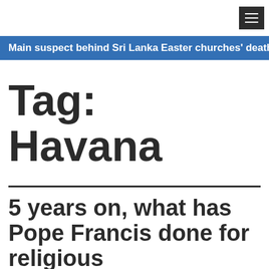≡
Main suspect behind Sri Lanka Easter churches' deaths arres
Tag: Havana
5 years on, what has Pope Francis done for religious